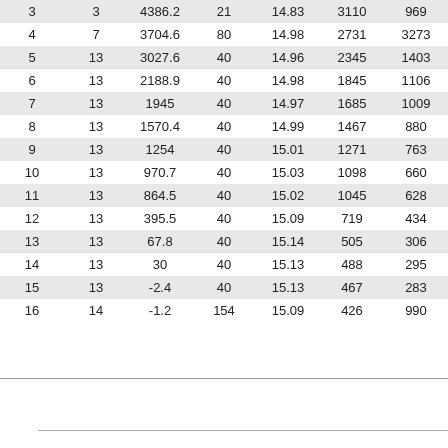| 3 | 3 | 4386.2 | 21 | 14.83 | 3110 | 969 |
| 4 | 7 | 3704.6 | 80 | 14.98 | 2731 | 3273 |
| 5 | 13 | 3027.6 | 40 | 14.96 | 2345 | 1403 |
| 6 | 13 | 2188.9 | 40 | 14.98 | 1845 | 1106 |
| 7 | 13 | 1945 | 40 | 14.97 | 1685 | 1009 |
| 8 | 13 | 1570.4 | 40 | 14.99 | 1467 | 880 |
| 9 | 13 | 1254 | 40 | 15.01 | 1271 | 763 |
| 10 | 13 | 970.7 | 40 | 15.03 | 1098 | 660 |
| 11 | 13 | 864.5 | 40 | 15.02 | 1045 | 628 |
| 12 | 13 | 395.5 | 40 | 15.09 | 719 | 434 |
| 13 | 13 | 67.8 | 40 | 15.14 | 505 | 306 |
| 14 | 13 | 30 | 40 | 15.13 | 488 | 295 |
| 15 | 13 | -2.4 | 40 | 15.13 | 467 | 283 |
| 16 | 14 | -1.2 | 154 | 15.09 | 426 | 990 |